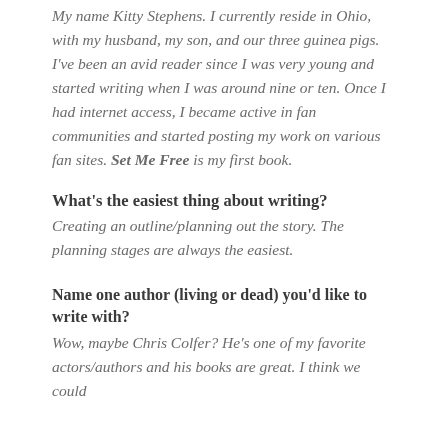My name Kitty Stephens. I currently reside in Ohio, with my husband, my son, and our three guinea pigs. I've been an avid reader since I was very young and started writing when I was around nine or ten. Once I had internet access, I became active in fan communities and started posting my work on various fan sites. Set Me Free is my first book.
What's the easiest thing about writing?
Creating an outline/planning out the story. The planning stages are always the easiest.
Name one author (living or dead) you'd like to write with?
Wow, maybe Chris Colfer? He's one of my favorite actors/authors and his books are great. I think we could